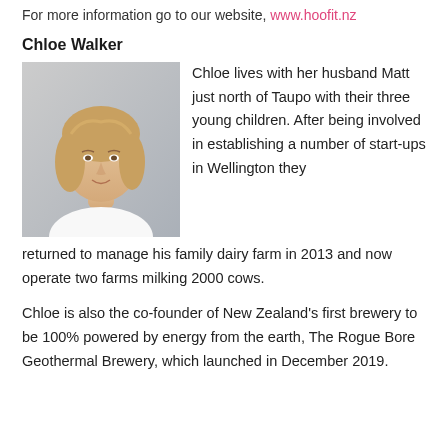For more information go to our website, www.hoofit.nz
Chloe Walker
[Figure (photo): Headshot photo of Chloe Walker, a woman with blonde hair wearing a white top, light grey background]
Chloe lives with her husband Matt just north of Taupo with their three young children. After being involved in establishing a number of start-ups in Wellington they returned to manage his family dairy farm in 2013 and now operate two farms milking 2000 cows.
Chloe is also the co-founder of New Zealand's first brewery to be 100% powered by energy from the earth, The Rogue Bore Geothermal Brewery, which launched in December 2019.